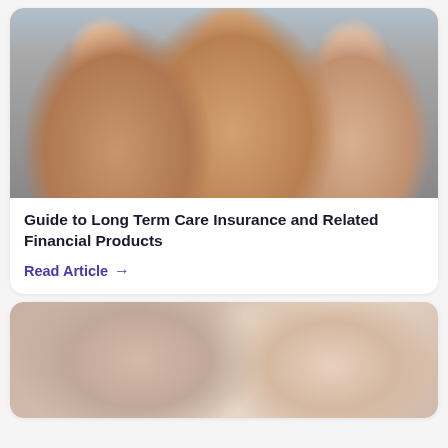[Figure (photo): Family photo showing an elderly man in center being hugged and embraced by two younger women on either side, all smiling and laughing together]
Guide to Long Term Care Insurance and Related Financial Products
Read Article →
[Figure (photo): Blurred/abstract background image, appears to show soft warm tones, possibly a close-up of skin or fabric]